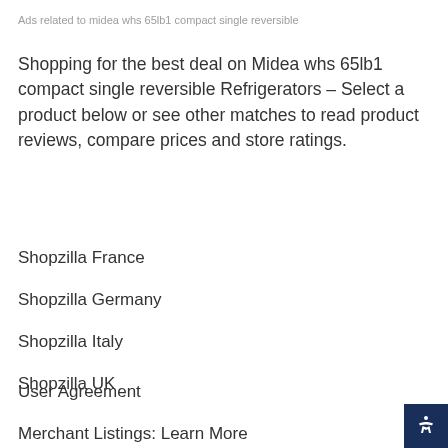Ads related to midea whs 65lb1 compact single reversible
Shopping for the best deal on Midea whs 65lb1 compact single reversible Refrigerators – Select a product below or see other matches to read product reviews, compare prices and store ratings.
Shopzilla France
Shopzilla Germany
Shopzilla Italy
Shopzilla UK
User Agreement
Merchant Listings: Learn More